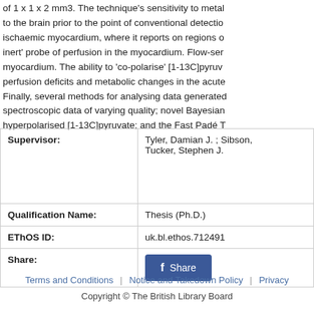of 1 x 1 x 2 mm3. The technique's sensitivity to metal... to the brain prior to the point of conventional detectio... ischaemic myocardium, where it reports on regions o... inert' probe of perfusion in the myocardium. Flow-ser... myocardium. The ability to 'co-polarise' [1-13C]pyruv... perfusion deficits and metabolic changes in the acute... Finally, several methods for analysing data generated... spectroscopic data of varying quality; novel Bayesian... hyperpolarised [1-13C]pyruvate; and the Fast Padé T... spectral data. DNP is a technique that, following its d... practice as a safe, novel molecular imaging modality.... assessment of cancer and heart disease, which comb...
|  |  |
| --- | --- |
| Supervisor: | Tyler, Damian J. ; Sibson,
Tucker, Stephen J. |
| Qualification Name: | Thesis (Ph.D.) |
| EThOS ID: | uk.bl.ethos.712491 |
| Share: | [Facebook Share button] |
Terms and Conditions | Notice and Takedown Policy | Privacy
Copyright © The British Library Board